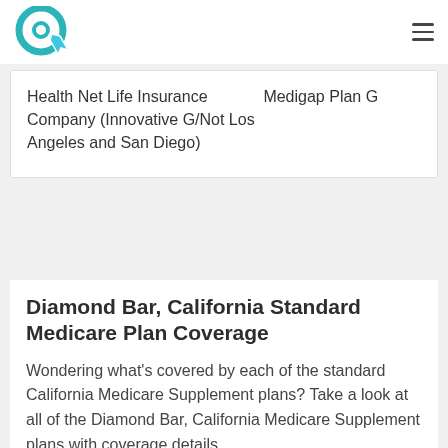|  |  |
| --- | --- |
| Health Net Life Insurance Company (Innovative G/Not Los Angeles and San Diego) | Medigap Plan G |
Diamond Bar, California Standard Medicare Plan Coverage
Wondering what’s covered by each of the standard California Medicare Supplement plans? Take a look at all of the Diamond Bar, California Medicare Supplement plans with coverage details.